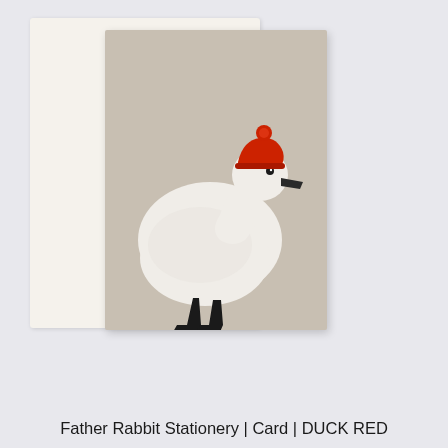[Figure (illustration): A product photograph showing a greeting card and envelope. The card has a warm taupe/beige background featuring a white goose/duck wearing a red knitted beanie hat, with a dark beak and dark feet. The envelope is off-white/cream, partially visible behind the card. The background of the photograph is light grey.]
Father Rabbit Stationery | Card | DUCK RED